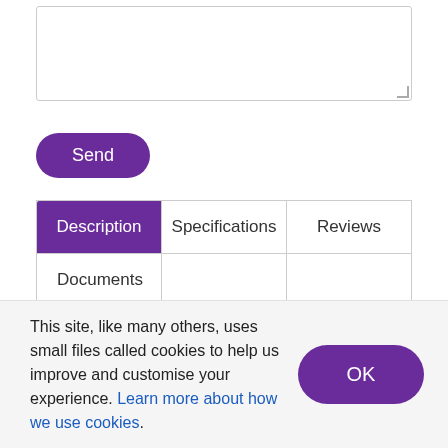[Figure (screenshot): A textarea input box with a resize handle in the bottom-right corner]
[Figure (screenshot): A purple Send button with rounded corners]
| Description | Specifications | Reviews |
| --- | --- | --- |
| Documents |  |  |
This Road Open sign is a popular way of promoting the positive benefits of traffic filters and low traffic
This site, like many others, uses small files called cookies to help us improve and customise your experience. Learn more about how we use cookies.